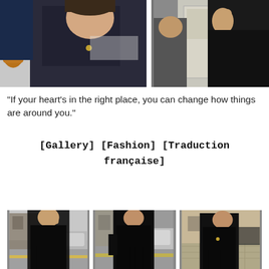[Figure (photo): Two paparazzi-style photos at top: left photo shows a person in a dark lace/patterned jacket carrying a brown bag; right photo shows a person in a dark coat with hand near face.]
"If your heart's in the right place, you can change how things are around you."
[Gallery] [Fashion] [Traduction française]
[Figure (photo): Three paparazzi-style photos at bottom showing a person in a black coat and black leather pants/boots walking on a street with cars in background.]